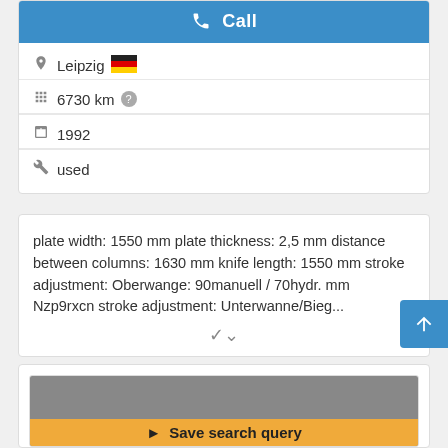Call
Leipzig 🇩🇪
6730 km ?
1992
used
plate width: 1550 mm plate thickness: 2,5 mm distance between columns: 1630 mm knife length: 1550 mm stroke adjustment: Oberwange: 90manuell / 70hydr. mm Nzp9rxcn stroke adjustment: Unterwanne/Bieg...
Save search query